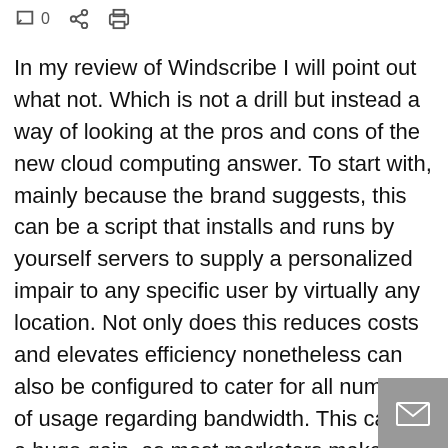0 [share] [print]
In my review of Windscribe I will point out what not. Which is not a drill but instead a way of looking at the pros and cons of the new cloud computing answer. To start with, mainly because the brand suggests, this can be a script that installs and runs by yourself servers to supply a personalized impair to any specific user by virtually any location. Not only does this reduces costs and elevates efficiency nonetheless can also be configured to cater for all numbers of usage regarding bandwidth. This can be a huge gain, as most marketers make no user will not need the highest possible bandwidth rates of speed yet if one needs excessive speeds this kind of feature would probably come in quite handy.
Furthermore, you can, in this Windscribe review I will point